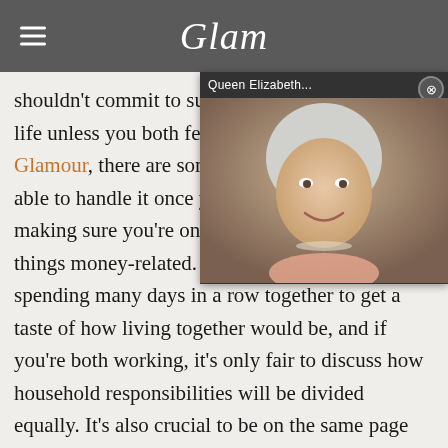Glam
[Figure (screenshot): Video overlay showing Queen Elizabeth smiling, with play button and label 'Queen Elizabeth...']
shouldn't commit to such a life unless you both feel rea Glamour, there are some w able to handle it once you m making sure you're on the same page about all things money-related. Plus, you should try spending many days in a row together to get a taste of how living together would be, and if you're both working, it's only fair to discuss how household responsibilities will be divided equally. It's also crucial to be on the same page about having furry friends in your home!